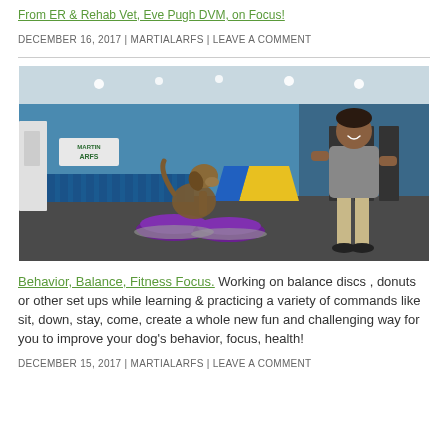From ER & Rehab Vet, Eve Pugh DVM, on Focus!
DECEMBER 16, 2017 | MARTIALARFS | LEAVE A COMMENT
[Figure (photo): A dog balancing on two purple balance discs in a dog training facility, with a man in a gray polo shirt standing nearby watching. The facility has blue walls and agility equipment in the background with a Martin ARFS logo banner.]
Behavior, Balance, Fitness Focus. Working on balance discs , donuts or other set ups while learning & practicing a variety of commands like sit, down, stay, come, create a whole new fun and challenging way for you to improve your dog's behavior, focus, health!
DECEMBER 15, 2017 | MARTIALARFS | LEAVE A COMMENT